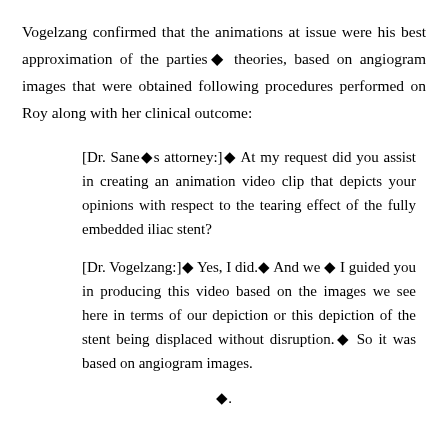Vogelzang confirmed that the animations at issue were his best approximation of the parties◆ theories, based on angiogram images that were obtained following procedures performed on Roy along with her clinical outcome:
[Dr. Sane◆s attorney:]◆ At my request did you assist in creating an animation video clip that depicts your opinions with respect to the tearing effect of the fully embedded iliac stent?
[Dr. Vogelzang:]◆ Yes, I did.◆ And we ◆ I guided you in producing this video based on the images we see here in terms of our depiction or this depiction of the stent being displaced without disruption.◆ So it was based on angiogram images.
◆.